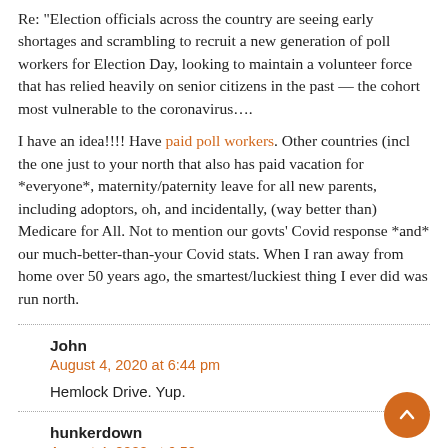Re: "Election officials across the country are seeing early shortages and scrambling to recruit a new generation of poll workers for Election Day, looking to maintain a volunteer force that has relied heavily on senior citizens in the past — the cohort most vulnerable to the coronavirus….
I have an idea!!!! Have paid poll workers. Other countries (incl the one just to your north that also has paid vacation for *everyone*, maternity/paternity leave for all new parents, including adoptors, oh, and incidentally, (way better than) Medicare for All. Not to mention our govts' Covid response *and* our much-better-than-your Covid stats. When I ran away from home over 50 years ago, the smartest/luckiest thing I ever did was run north.
John
August 4, 2020 at 6:44 pm
Hemlock Drive. Yup.
hunkerdown
August 4, 2020 at 6:50 pm
"The trouble with capitalism is that eventually you run out